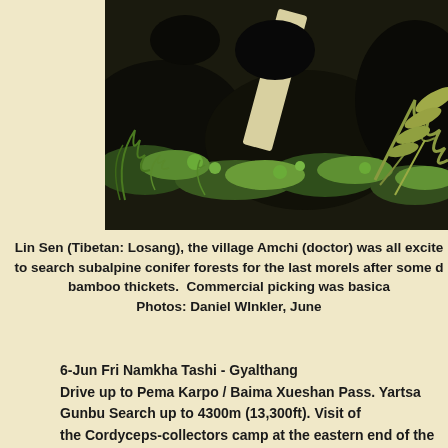[Figure (photo): Close-up photo of alpine/subalpine plants including mosses, ferns, and small green plants growing on dark soil, with a pale diagonal object (possibly a stick or label) visible in the center]
Lin Sen (Tibetan: Losang), the village Amchi (doctor) was all excite to search subalpine conifer forests for the last morels after some d bamboo thickets.  Commercial picking was basica Photos: Daniel Winkler, June
6-Jun Fri Namkha Tashi - Gyalthang Drive up to Pema Karpo / Baima Xueshan Pass. Yartsa Gunbu Search up to 4300m (13,300ft). Visit of the Cordyceps-collectors camp at the eastern end of the pass. Bu shopping. Picnic below the pass. Return Shangrila = Gyalthang. Gyalthang farewell dinner at Arro Khampa. Gyalthang Dzong Hotel